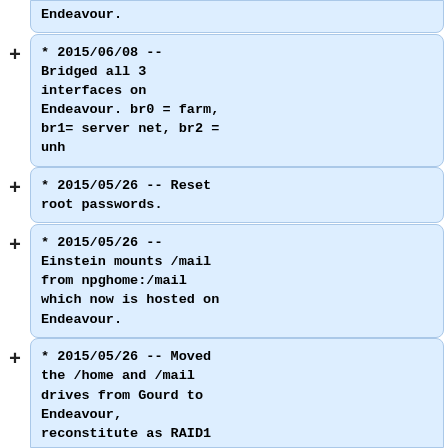Endeavour.
* 2015/06/08 -- Bridged all 3 interfaces on Endeavour. br0 = farm, br1= server net, br2 = unh
* 2015/05/26 -- Reset root passwords.
* 2015/05/26 -- Einstein mounts /mail from npghome:/mail which now is hosted on Endeavour.
* 2015/05/26 -- Moved the /home and /mail drives from Gourd to Endeavour, reconstitute as RAID1